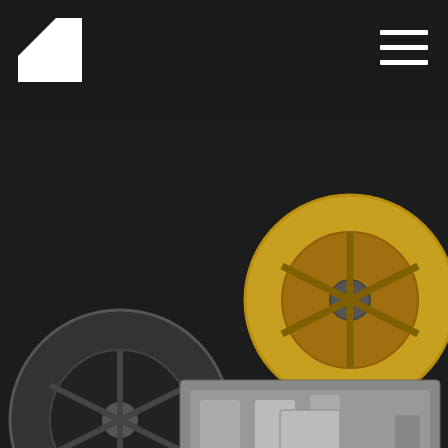Abbey Road Institute
[Figure (photo): Close-up photograph of a reel-to-reel tape recorder showing two tape reels (one black/silver on the left, one gold on the right), tape heads, and transport mechanism against a dark background.]
Blog
This site uses analytical cookies to improve your experience on our website. You can read more about our how we use cookies in our privacy policy. Please accept to confirm we have your permission to place additional tracking cookies: